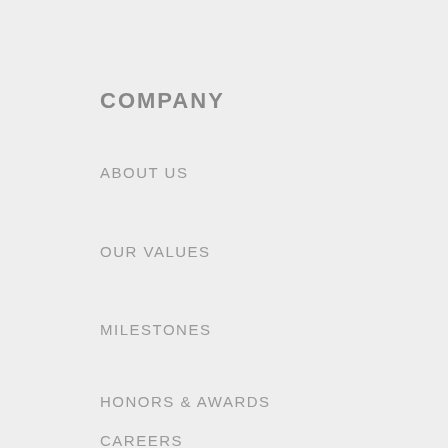COMPANY
ABOUT US
OUR VALUES
MILESTONES
HONORS & AWARDS
CAREERS